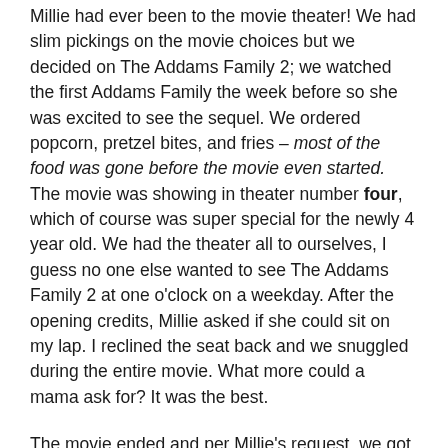Millie had ever been to the movie theater! We had slim pickings on the movie choices but we decided on The Addams Family 2; we watched the first Addams Family the week before so she was excited to see the sequel. We ordered popcorn, pretzel bites, and fries – most of the food was gone before the movie even started. The movie was showing in theater number four, which of course was super special for the newly 4 year old. We had the theater all to ourselves, I guess no one else wanted to see The Addams Family 2 at one o'clock on a weekday. After the opening credits, Millie asked if she could sit on my lap. I reclined the seat back and we snuggled during the entire movie. What more could a mama ask for? It was the best.
The movie ended and per Millie's request, we got doughnuts at Krispy Kreme. She picked out her favorites from behind the glass and even got a birthday cake doughnut. I let her eat a mini doughnut in the car and after she finished it, she fell fast asleep in her car seat. She had an awesome birthday and couldn't wait for her cat themed birthday party with her friends and family.